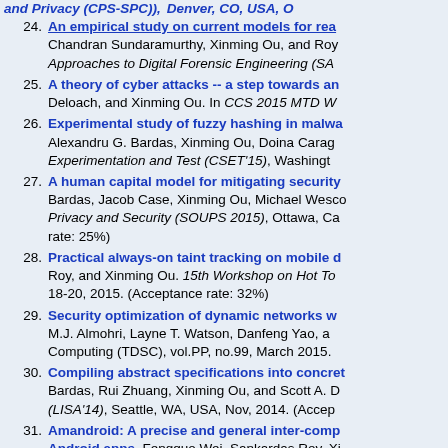24. An empirical study on current models for reasoning about networks: ... Chandran Sundaramurthy, Xinming Ou, and Roy... Approaches to Digital Forensic Engineering (SA...
25. A theory of cyber attacks -- a step towards an... Deloach, and Xinming Ou. In CCS 2015 MTD W...
26. Experimental study of fuzzy hashing in malwa... Alexandru G. Bardas, Xinming Ou, Doina Carag... Experimentation and Test (CSET'15), Washingt...
27. A human capital model for mitigating security... Bardas, Jacob Case, Xinming Ou, Michael Wes... Privacy and Security (SOUPS 2015), Ottawa, Ca... rate: 25%)
28. Practical always-on taint tracking on mobile d... Roy, and Xinming Ou. 15th Workshop on Hot To... 18-20, 2015. (Acceptance rate: 32%)
29. Security optimization of dynamic networks w... M.J. Almohri, Layne T. Watson, Danfeng Yao, a... Computing (TDSC), vol.PP, no.99, March 2015.
30. Compiling abstract specifications into concret... Bardas, Rui Zhuang, Xinming Ou, and Scott A. ... (LISA'14), Seattle, WA, USA, Nov, 2014. (Accep...
31. Amandroid: A precise and general inter-comp... Android apps. Fengguo Wei, Sankardas Roy, X... Communications Security (CCS 2014), Scottsdale...
32. ...